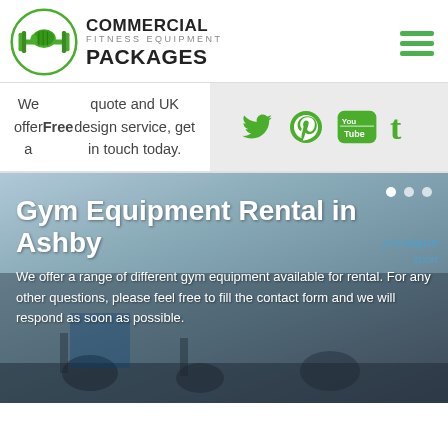[Figure (logo): Commercial Fitness Equipment Packages logo with green dumbbell graphic and bold black text]
We offer a Free quote and UK design service, get in touch today.
[Figure (infographic): Social media icons: Twitter, Pinterest, YouTube, Tumblr in green on light grey background]
[Figure (photo): Hero banner showing gym interior with exercise bikes and equipment, overlaid with text: Gym Equipment Rental in Ashby. We offer a range of different gym equipment available for rental. For any other questions, please feel free to fill the contact form and we will respond as soon as possible.]